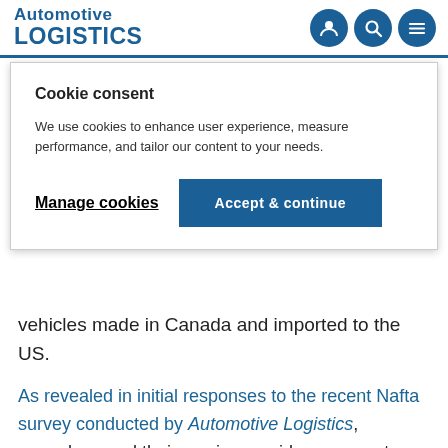Automotive LOGISTICS
Cookie consent
We use cookies to enhance user experience, measure performance, and tailor our content to your needs.
Manage cookies | Accept & continue
vehicles made in Canada and imported to the US.
As revealed in initial responses to the recent Nafta survey conducted by Automotive Logistics, carmakers and their service providers appear to support efforts to modernise Nafta and believe that a better deal could be achieved for all. They also believe that uncertainty surrounding the renegotiation has been bad for business, causing automotive companies to